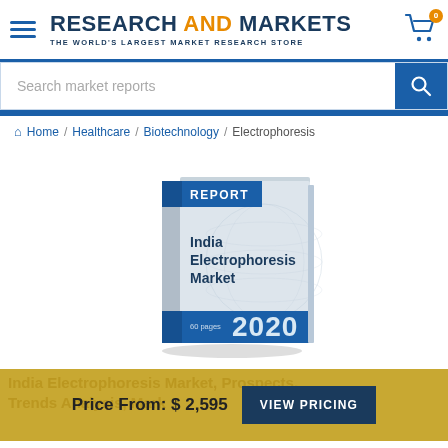RESEARCH AND MARKETS — THE WORLD'S LARGEST MARKET RESEARCH STORE
Search market reports
Home / Healthcare / Biotechnology / Electrophoresis
[Figure (illustration): 3D book cover titled 'India Electrophoresis Market' with a blue REPORT banner, world map background, '60 pages' label, and '2020' in large text on a blue bottom band]
India Electrophoresis Market, Prospects, Trends Analysis, Market Size and Forecasts
Price From: $ 2,595
VIEW PRICING